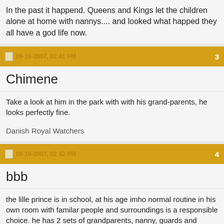In the past it happend. Queens and Kings let the children alone at home with nannys.... and looked what happed they all have a god life now.
09-19-2007, 02:41 PM  3
Chimene
Take a look at him in the park with with his grand-parents, he looks perfectly fine.
Danish Royal Watchers
09-19-2007, 02:42 PM  4
bbb
the lille prince is in school, at his age imho normal routine in his own room with familar people and surroundings is a responsible choice. he has 2 sets of grandparents, nanny, guards and palace employees to watch after his own welfare, if any thing he's probably being spoiled while his parents are away, that is what grandparents tend to do. i'm sure his parents are missing him much more than he's missing them, it's only a few days and i have no doubt they are keeping constantly in touch with him and others at home. imo it would have been much